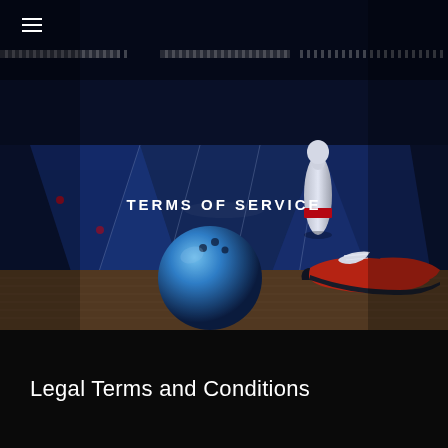[Figure (photo): A bowling alley photograph showing a blue bowling ball, a white and red bowling pin, and red and black bowling shoes on a wooden lane, with the bowling lane stretching into the background under blue atmospheric lighting.]
TERMS OF SERVICE
Legal Terms and Conditions